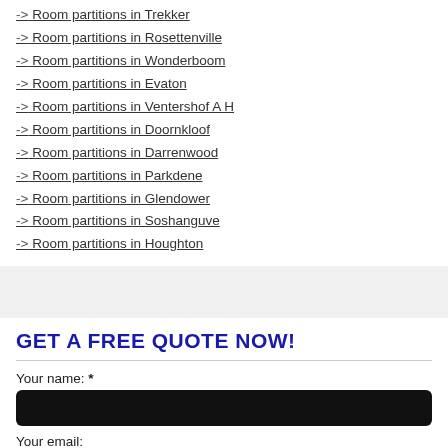-> Room partitions in Trekker
-> Room partitions in Rosettenville
-> Room partitions in Wonderboom
-> Room partitions in Evaton
-> Room partitions in Ventershof A H
-> Room partitions in Doornkloof
-> Room partitions in Darrenwood
-> Room partitions in Parkdene
-> Room partitions in Glendower
-> Room partitions in Soshanguve
-> Room partitions in Houghton
GET A FREE QUOTE NOW!
Your name: *
Your email:
Telephone: *